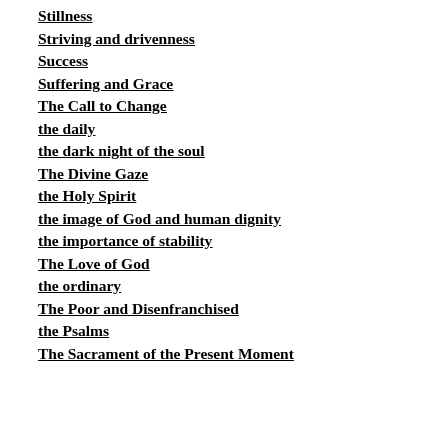Stillness
Striving and drivenness
Success
Suffering and Grace
The Call to Change
the daily
the dark night of the soul
The Divine Gaze
the Holy Spirit
the image of God and human dignity
the importance of stability
The Love of God
the ordinary
The Poor and Disenfranchised
the Psalms
The Sacrament of the Present Moment